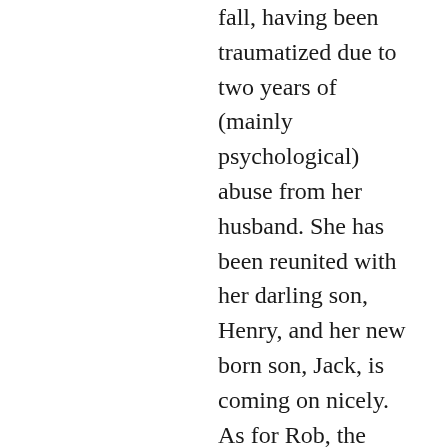fall, having been traumatized due to two years of (mainly psychological) abuse from her husband. She has been reunited with her darling son, Henry, and her new born son, Jack, is coming on nicely. As for Rob, the Family Courts have given their verdict: he is not allowed any access to Henry and as for Jack, his biological son, he has restricted access but only under strict supervision. Besides landing a managerial job for Borchester Land, the main Rob interest besides being a villain, is him getting access to Helen’s children.
The Archers, has begun to return to